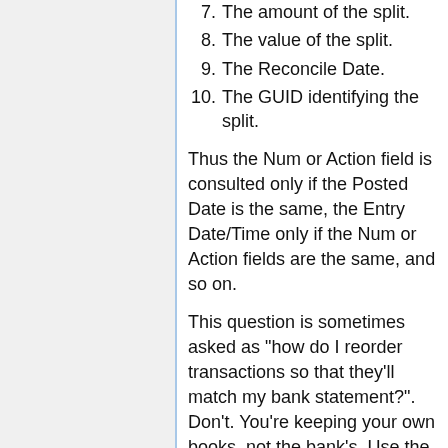7. The amount of the split.
8. The value of the split.
9. The Reconcile Date.
10. The GUID identifying the split.
Thus the Num or Action field is consulted only if the Posted Date is the same, the Entry Date/Time only if the Num or Action fields are the same, and so on.
This question is sometimes asked as "how do I reorder transactions so that they'll match my bank statement?". Don't. You're keeping your own books, not the bank's. Use the Reconcile window to reconcile the two.
If you insist on reordering, the only way to do it in the UI is to edit the Num fields on the transactions in question or the Action field for the split if you've selected that option; this might cause you